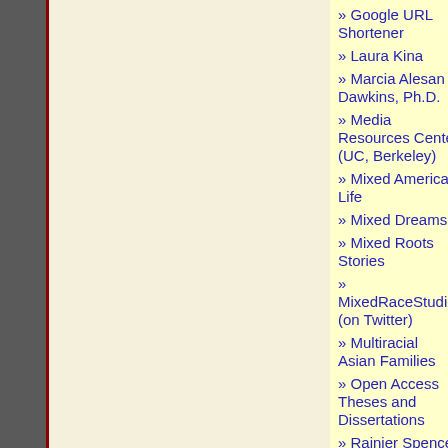» Google URL Shortener
» Laura Kina
» Marcia Alesan Dawkins, Ph.D.
» Media Resources Center (UC, Berkeley)
» Mixed American Life
» Mixed Dreams
» Mixed Roots Stories
» MixedRaceStudies (on Twitter)
» Multiracial Asian Families
» Open Access Theses and Dissertations
» Rainier Spencer, Ph.D.
» Renegade South
» Ulli K. Ryder, Ph.D.
Meta